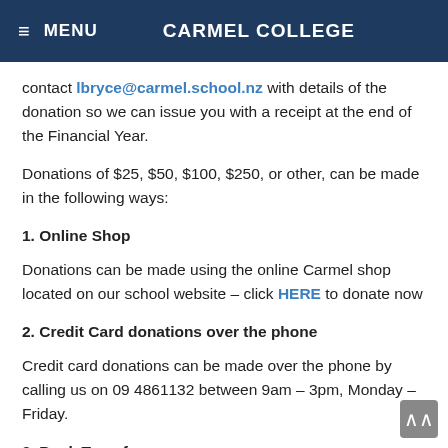≡ MENU    CARMEL COLLEGE
contact lbryce@carmel.school.nz with details of the donation so we can issue you with a receipt at the end of the Financial Year.
Donations of $25, $50, $100, $250, or other, can be made in the following ways:
1. Online Shop
Donations can be made using the online Carmel shop located on our school website – click HERE to donate now
2. Credit Card donations over the phone
Credit card donations can be made over the phone by calling us on 09 4861132 between 9am – 3pm, Monday – Friday.
3. Bank Transfer